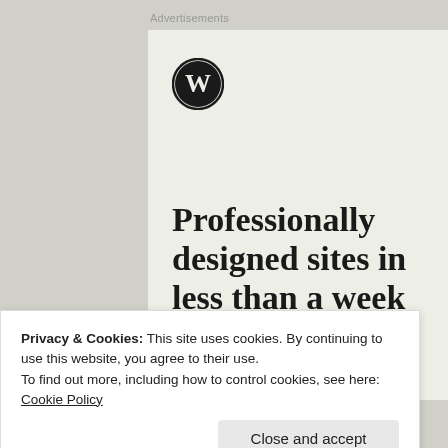Advertisements
[Figure (illustration): WordPress.com advertisement card with beige/cream background, WordPress logo (W in circle) at top left, large headline text 'Professionally designed sites in less than a week', and a green call-to-action button partially visible at bottom]
Privacy & Cookies: This site uses cookies. By continuing to use this website, you agree to their use.
To find out more, including how to control cookies, see here: Cookie Policy
Close and accept